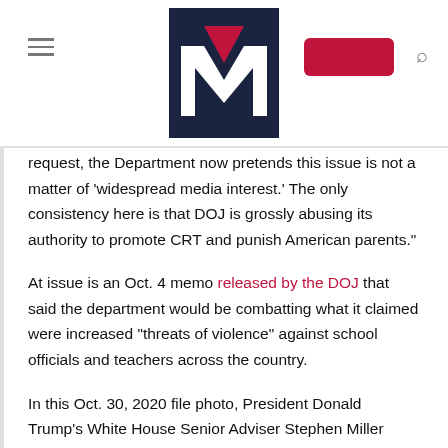[Mediaite logo header with hamburger menu, red button, and search icon]
request, the Department now pretends this issue is not a matter of 'widespread media interest.' The only consistency here is that DOJ is grossly abusing its authority to promote CRT and punish American parents."
At issue is an Oct. 4 memo released by the DOJ that said the department would be combatting what it claimed were increased "threats of violence" against school officials and teachers across the country.
In this Oct. 30, 2020 file photo, President Donald Trump's White House Senior Adviser Stephen Miller follows President Donald Trump on the South Lawn of the White House in Washington. Alabama U.S. Rep. Mo Brooks, teasing the announcement of a